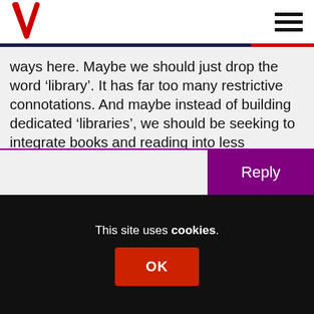ways here. Maybe we should just drop the word ‘library’. It has far too many restrictive connotations. And maybe instead of building dedicated ‘libraries’, we should be seeking to integrate books and reading into less selective civic spaces.
Reply
This site uses cookies. OK